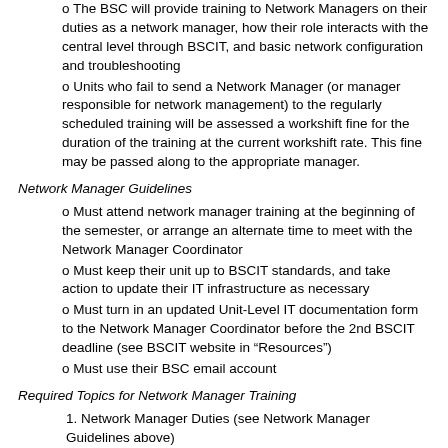o The BSC will provide training to Network Managers on their duties as a network manager, how their role interacts with the central level through BSCIT, and basic network configuration and troubleshooting
o Units who fail to send a Network Manager (or manager responsible for network management) to the regularly scheduled training will be assessed a workshift fine for the duration of the training at the current workshift rate. This fine may be passed along to the appropriate manager.
Network Manager Guidelines
o Must attend network manager training at the beginning of the semester, or arrange an alternate time to meet with the Network Manager Coordinator
o Must keep their unit up to BSCIT standards, and take action to update their IT infrastructure as necessary
o Must turn in an updated Unit-Level IT documentation form to the Network Manager Coordinator before the 2nd BSCIT deadline (see BSCIT website in “Resources”)
o Must use their BSC email account
Required Topics for Network Manager Training
1. Network Manager Duties (see Network Manager Guidelines above)
2. Relationship with the central level